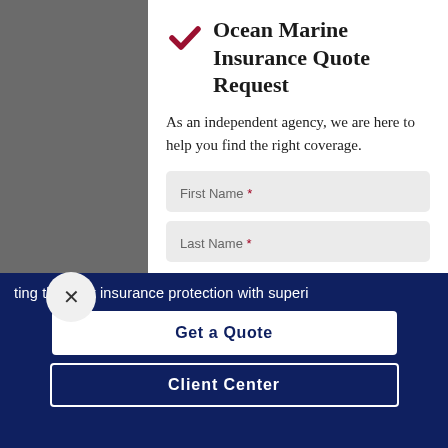Ocean Marine Insurance Quote Request
As an independent agency, we are here to help you find the right coverage.
First Name *
Last Name *
ting the right insurance protection with superi
Get a Quote
Client Center